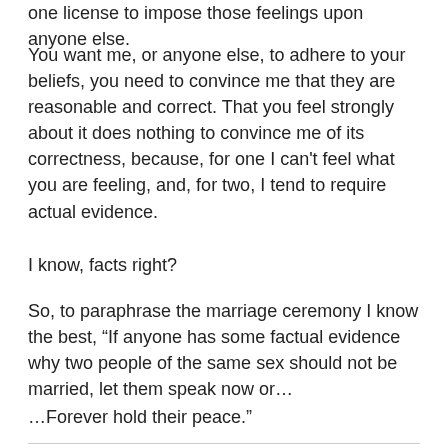one license to impose those feelings upon anyone else.
You want me, or anyone else, to adhere to your beliefs, you need to convince me that they are reasonable and correct. That you feel strongly about it does nothing to convince me of its correctness, because, for one I can't feel what you are feeling, and, for two, I tend to require actual evidence.
I know, facts right?
So, to paraphrase the marriage ceremony I know the best, “If anyone has some factual evidence why two people of the same sex should not be married, let them speak now or…
…Forever hold their peace.”